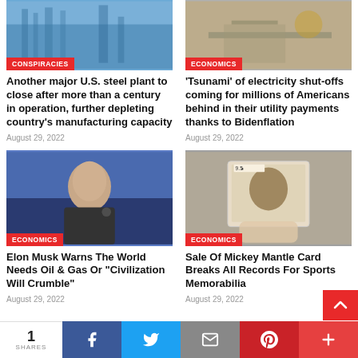[Figure (photo): Building/steel plant photo with blue sky, CONSPIRACIES badge]
Another major U.S. steel plant to close after more than a century in operation, further depleting country's manufacturing capacity
August 29, 2022
[Figure (photo): Person at desk with papers/money, ECONOMICS badge]
'Tsunami' of electricity shut-offs coming for millions of Americans behind in their utility payments thanks to Bidenflation
August 29, 2022
[Figure (photo): Elon Musk smiling with microphone on blue background, ECONOMICS badge]
Elon Musk Warns The World Needs Oil & Gas Or "Civilization Will Crumble"
August 29, 2022
[Figure (photo): Hand holding Mickey Mantle baseball card graded 9.5, ECONOMICS badge]
Sale Of Mickey Mantle Card Breaks All Records For Sports Memorabilia
August 29, 2022
1 SHARES | Facebook | Twitter | Email | Pinterest | More